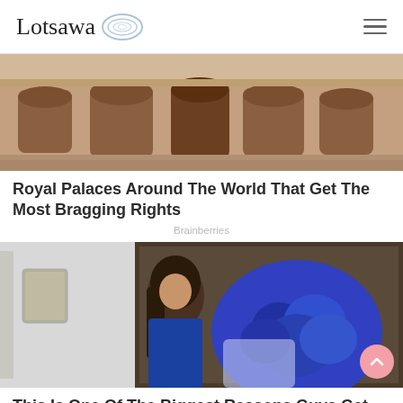Lotsawa
[Figure (photo): Ancient stone palace/fortress with arched niches carved into the facade]
Royal Palaces Around The World That Get The Most Bragging Rights
Brainberries
[Figure (photo): Woman in blue dress holding large bouquet of blue roses]
This Is One Of The Biggest Reasons Guys Get Scared To Commit